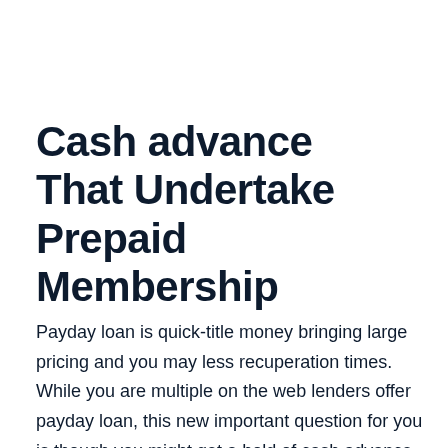Cash advance That Undertake Prepaid Membership
Payday loan is quick-title money bringing large pricing and you may less recuperation times. While you are multiple on the web lenders offer payday loan, this new important question for you is though you might get a hold of cash advance you to deal with prepaid